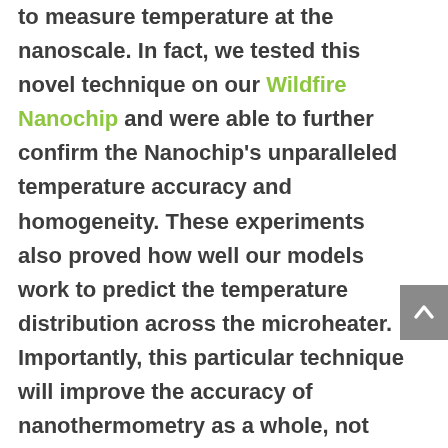to measure temperature at the nanoscale. In fact, we tested this novel technique on our Wildfire Nanochip and were able to further confirm the Nanochip's unparalleled temperature accuracy and homogeneity. These experiments also proved how well our models work to predict the temperature distribution across the microheater. Importantly, this particular technique will improve the accuracy of nanothermometry as a whole, not only in micro- and nano-electronics but also in other fields with photonically